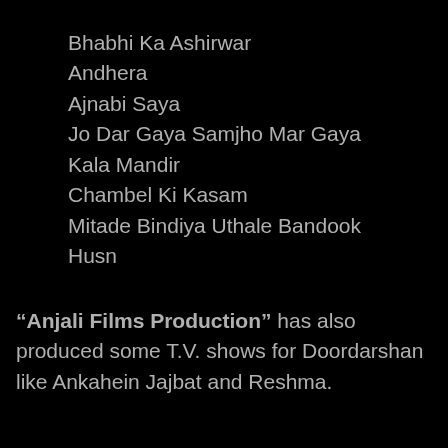Bhabhi Ka Ashirwar
Andhera
Ajnabi Saya
Jo Dar Gaya Samjho Mar Gaya
Kala Mandir
Chambel Ki Kasam
Mitade Bindiya Uthale Bandook
Husn
“Anjali Films Production” has also produced some T.V. shows for Doordarshan like Ankahein Jajbat and Reshma.